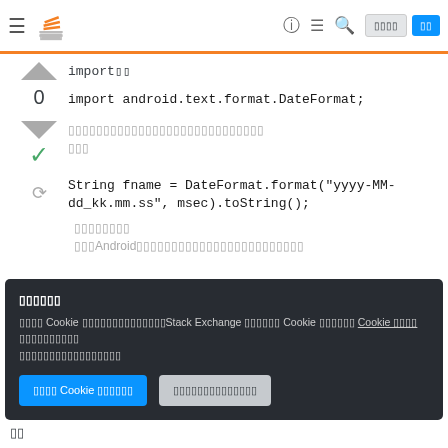Stack Overflow navigation bar with logo, icons, and login buttons
import□□
import android.text.format.DateFormat;
□□□□□□□□□□□□□□□□□□□□□□□□□□□□ □□□
String fname = DateFormat.format("yyyy-MM-dd_kk.mm.ss", msec).toString();
□□□□□□□□
□□□Android□□□□□□□□□□□□□□□□□□□□□□□□
Cookie banner: □□□□□□ — □□□□ Cookie □□□□□□□□□□□□□□□□Stack Exchange □□□□□□ Cookie □□□□□□ Cookie □□□□ □□□□□□□□□□ □□□□□□□□□□□□□□□□□
□□